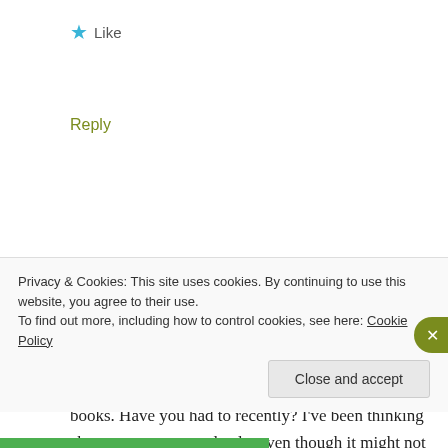★ Like
Reply
Jenna Pirrie
— 17 APRIL, 2015 AT 10:20 AM
Ooooh no! I try not to think about moving my books. Have you had to recently? I've been thinking about my next move lately, even though it might not be till
Privacy & Cookies: This site uses cookies. By continuing to use this website, you agree to their use.
To find out more, including how to control cookies, see here: Cookie Policy
Close and accept